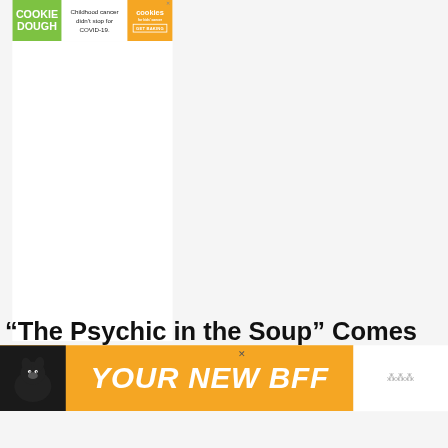[Figure (infographic): Advertisement banner: green section with 'COOKIE DOUGH' text, white center with 'Childhood cancer didn't stop for COVID-19.', orange right section with cookies for kids' cancer logo and 'GET BAKING' button. Close X in top right.]
[Figure (infographic): Large white blank content area (article body placeholder).]
[Figure (infographic): Heart/like button (blue circle with heart icon), count '1', and share button (white circle with share icon) on the right side.]
“The Psychic in the Soup” Comes In Like a La
[Figure (infographic): Bottom advertisement banner: orange background with dog image on left and 'YOUR NEW BFF' bold italic white text. Partial white section visible on right with small logo. Close X visible.]